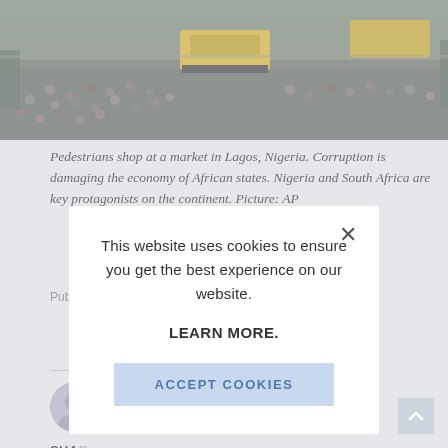[Figure (photo): Aerial view of a busy market street in Lagos, Nigeria with yellow buses and crowds of pedestrians]
Pedestrians shop at a market in Lagos, Nigeria. Corruption is damaging the economy of African states. Nigeria and South Africa are key protagonists on the continent. Picture: AP
Publi[shed...]
SHAR[E...]
This website uses cookies to ensure you get the best experience on our website.

LEARN MORE.

ACCEPT COOKIES